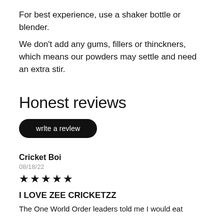For best experience, use a shaker bottle or blender.
We don’t add any gums, fillers or thinckners, which means our powders may settle and need an extra stir.
Honest reviews
wrlte a revlew
Cricket Boi
08/18/22
★★★★★
I LOVE ZEE CRICKETZZ
The One World Order leaders told me I would eat